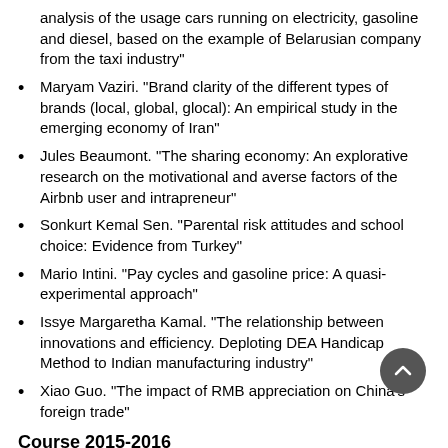analysis of the usage cars running on electricity, gasoline and diesel, based on the example of Belarusian company from the taxi industry"
Maryam Vaziri. "Brand clarity of the different types of brands (local, global, glocal): An empirical study in the emerging economy of Iran"
Jules Beaumont. "The sharing economy: An explorative research on the motivational and averse factors of the Airbnb user and intrapreneur"
Sonkurt Kemal Sen. "Parental risk attitudes and school choice: Evidence from Turkey"
Mario Intini. "Pay cycles and gasoline price: A quasi-experimental approach"
Issye Margaretha Kamal. "The relationship between innovations and efficiency. Deploting DEA Handicap Method to Indian manufacturing industry"
Xiao Guo. "The impact of RMB appreciation on China’s foreign trade"
Course 2015-2016
Abdulkader K. Kaakeh. "Innovation and productivity..."